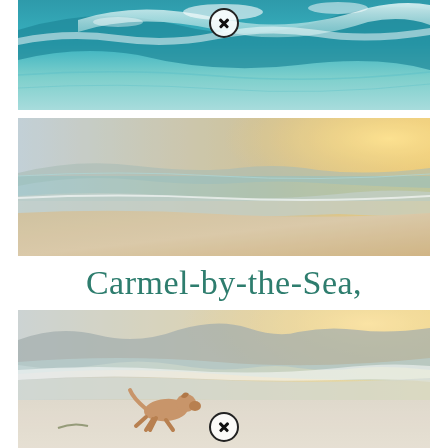[Figure (photo): Ocean wave crashing, teal blue water with white foam, close-up view of wave curl]
[Figure (photo): Sandy beach shoreline at golden hour, calm waves meeting the shore, warm golden sunlight on the right, misty atmosphere]
Carmel-by-the-Sea, California
[Figure (photo): Dog running on a sandy beach with ocean waves in the background, rocky cliffs visible, golden misty light]